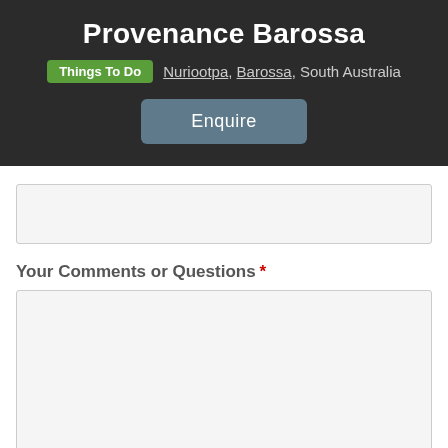Provenance Barossa
Things To Do  Nuriootpa, Barossa, South Australia
Enquire
Your Comments or Questions *